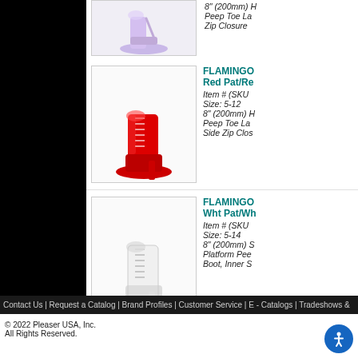[Figure (photo): Partial view of a lavender/purple platform high heel peep toe boot with side zip closure]
8" (200mm) H
Peep Toe La
Zip Closure
[Figure (photo): Red patent lace-up platform peep toe boot with side zip closure]
FLAMINGO Red Pat/Re
Item # (SKU
Size: 5-12
8" (200mm) H Peep Toe La Side Zip Clos
[Figure (photo): White patent lace-up platform peep toe boot, inner side zip]
FLAMINGO Wht Pat/Wh
Item # (SKU
Size: 5-14
8" (200mm) S Platform Pee Boot, Inner S
Contact Us | Request a Catalog | Brand Profiles | Customer Service | E - Catalogs | Tradeshows &
© 2022 Pleaser USA, Inc.
All Rights Reserved.